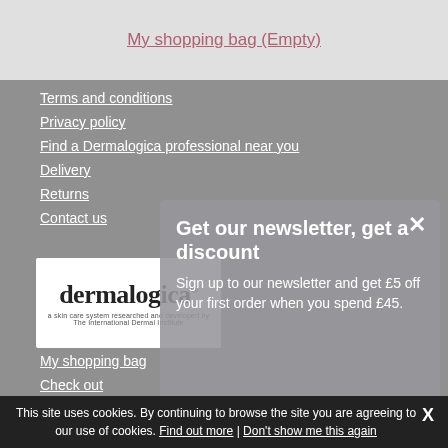My shopping bag (Empty)
Terms and conditions
Privacy policy
Find a Dermalogica professional near you
Delivery
Returns
Contact us
My account
My shopping bag
Check out
My orders
Access my account
[Figure (logo): Dermalogica logo with tagline: a skin care system researched and developed by The International Dermal Institute]
Get our newsletter, get a discount
Sign up to our newsletter and get £5 off your first order when you spend £45.
This site uses cookies. By continuing to browse the site you are agreeing to our use of cookies. Find out more | Don't show me this again